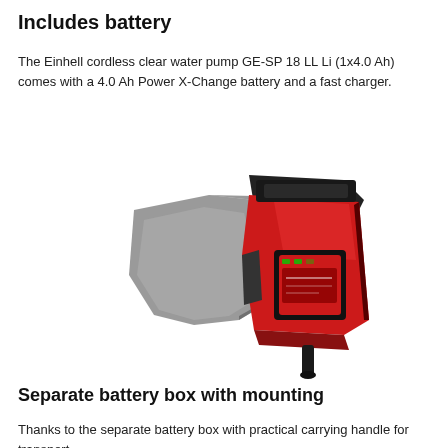Includes battery
The Einhell cordless clear water pump GE-SP 18 LL Li (1x4.0 Ah) comes with a 4.0 Ah Power X-Change battery and a fast charger.
[Figure (photo): Einhell cordless clear water pump GE-SP 18 LL Li with red body and dark grey pump housing, shown with battery attached and a thin outlet pipe at the bottom.]
Separate battery box with mounting
Thanks to the separate battery box with practical carrying handle for transport